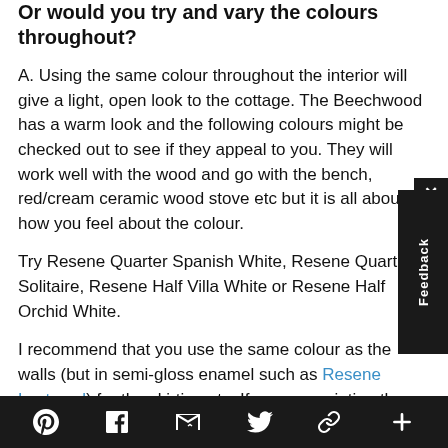Or would you try and vary the colours throughout?
A. Using the same colour throughout the interior will give a light, open look to the cottage. The Beechwood has a warm look and the following colours might be checked out to see if they appeal to you. They will work well with the wood and go with the bench, red/cream ceramic wood stove etc but it is all about how you feel about the colour.
Try Resene Quarter Spanish White, Resene Quarter Solitaire, Resene Half Villa White or Resene Half Orchid White.
I recommend that you use the same colour as the walls (but in semi-gloss enamel such as Resene Lustacryl) for the skirting etc. If you are painting the kitchen cabinet, you could stay with the same colour as the painted skirting. Because of the mix of colours in the Formica
Pinterest | Facebook | Email | Twitter | Link | Plus